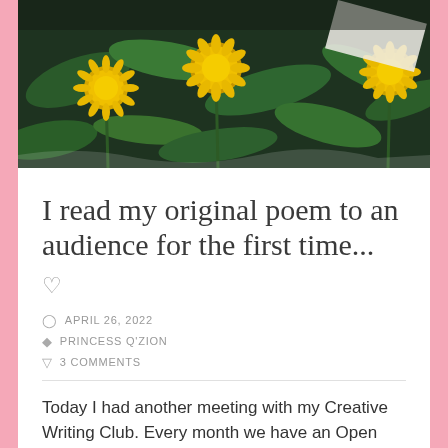[Figure (photo): Photograph of yellow dandelion flowers with green leaves, dark moody tone, with a white object partially visible in the upper right corner.]
I read my original poem to an audience for the first time...
♡
APRIL 26, 2022
PRINCESS Q'ZION
3 COMMENTS
Today I had another meeting with my Creative Writing Club. Every month we have an Open Mic Night, where we as students can submit our original